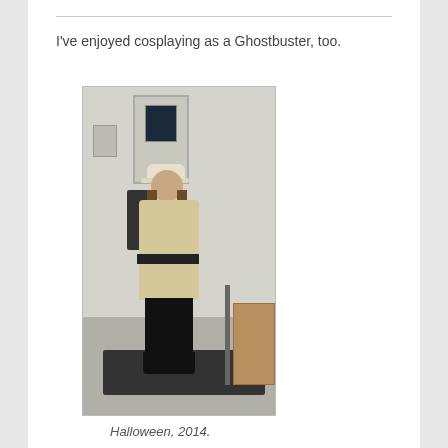I've enjoyed cosplaying as a Ghostbuster, too.
[Figure (photo): A woman dressed in a Ghostbusters costume (tan jumpsuit, proton pack, black belt, white cap, black boots) standing in a room with a white door in the background and a dark floor mat.]
Halloween, 2014.